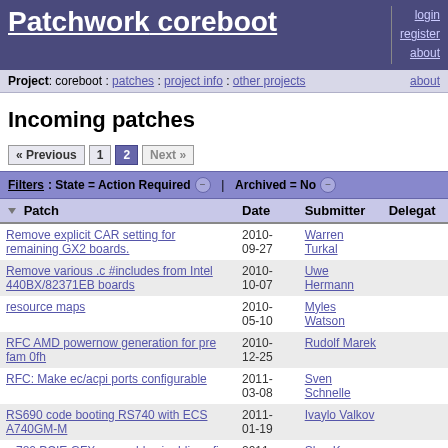Patchwork coreboot | login register about
Project: coreboot : patches : project info : other projects | about
Incoming patches
« Previous  1  2  Next »
Filters: State = Action Required  |  Archived = No
| Patch | Date | Submitter | Delegate |
| --- | --- | --- | --- |
| Remove explicit CAR setting for remaining GX2 boards. | 2010-09-27 | Warren Turkal |  |
| Remove various .c #includes from Intel 440BX/82371EB boards | 2010-10-07 | Uwe Hermann |  |
| resource maps | 2010-05-10 | Myles Watson |  |
| RFC AMD powernow generation for pre fam 0fh | 2010-12-25 | Rudolf Marek |  |
| RFC: Make ec/acpi ports configurable | 2011-03-08 | Sven Schnelle |  |
| RS690 code booting RS740 with ECS A740GM-M | 2011-01-19 | Ivaylo Valkov |  |
| rs780 PCIE GFX core add pcie ddi config option | 2011-01-27 | She, Kerry |  |
| rs780/690 handle non-zero sblink… | 2010- | Liu Tao |  |